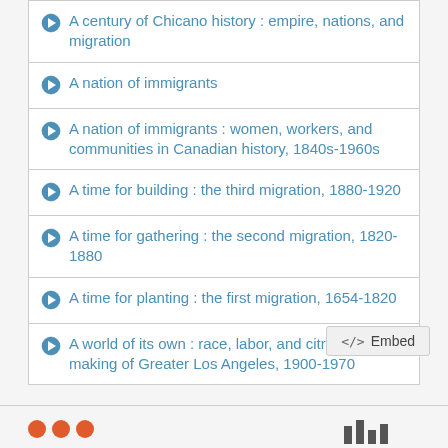A century of Chicano history : empire, nations, and migration
A nation of immigrants
A nation of immigrants : women, workers, and communities in Canadian history, 1840s-1960s
A time for building : the third migration, 1880-1920
A time for gathering : the second migration, 1820-1880
A time for planting : the first migration, 1654-1820
A world of its own : race, labor, and citrus in the making of Greater Los Angeles, 1900-1970
Embed